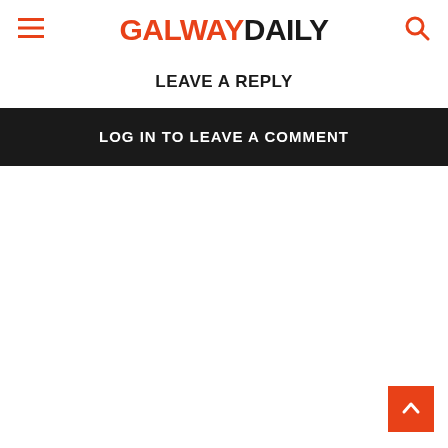GALWAY DAILY
LEAVE A REPLY
LOG IN TO LEAVE A COMMENT